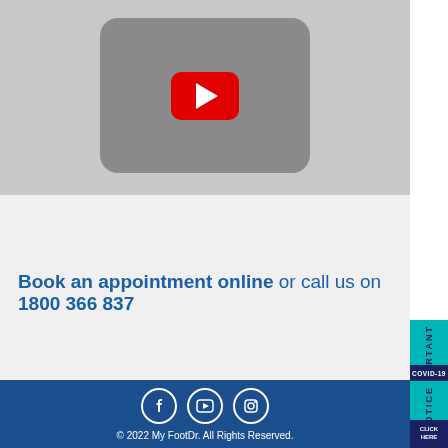[Figure (screenshot): YouTube video thumbnail showing the YouTube play button (red rectangle with white triangle) centered on a gray background]
Book an appointment online or call us on 1800 366 837
[Figure (infographic): Social media icons: Facebook, YouTube, Instagram in white circles]
© 2022 My FootDr. All Rights Reserved.
[Figure (infographic): Side panel: IMPORTANT COVID-19 NOTICE CLICK HERE teal sidebar tab]